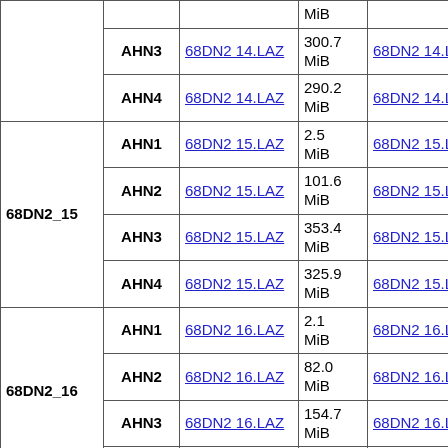| Group | AHN | LAZ File | LAZ Size | LAX File | LAX Size |  |
| --- | --- | --- | --- | --- | --- | --- |
|  |  |  | MiB |  |  | kiB |
|  | AHN3 | 68DN2_14.LAZ | 300.7 MiB | 68DN2_14.LAX | 100 kiB |  |
|  | AHN4 | 68DN2_14.LAZ | 290.2 MiB | 68DN2_14.LAX | 100 kiB |  |
| 68DN2_15 | AHN1 | 68DN2_15.LAZ | 2.5 MiB | 68DN2_15.LAX | 4 kiB |  |
| 68DN2_15 | AHN2 | 68DN2_15.LAZ | 101.6 MiB | 68DN2_15.LAX | 98 kiB |  |
| 68DN2_15 | AHN3 | 68DN2_15.LAZ | 353.4 MiB | 68DN2_15.LAX | 100 kiB |  |
| 68DN2_15 | AHN4 | 68DN2_15.LAZ | 325.9 MiB | 68DN2_15.LAX | 100 kiB |  |
| 68DN2_16 | AHN1 | 68DN2_16.LAZ | 2.1 MiB | 68DN2_16.LAX | 4 kiB |  |
| 68DN2_16 | AHN2 | 68DN2_16.LAZ | 82.0 MiB | 68DN2_16.LAX | 80 kiB |  |
| 68DN2_16 | AHN3 | 68DN2_16.LAZ | 154.7 MiB | 68DN2_16.LAX | 95 kiB |  |
| 68DN2_16 | AHN4 |  | 276.2 |  | 100 |  |